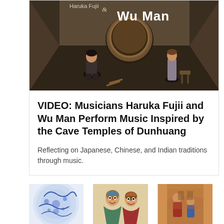[Figure (photo): Two musicians in a room with a large taiko drum. Text overlay reads 'Wu Man' in white with decorative script above.]
VIDEO: Musicians Haruka Fujii and Wu Man Perform Music Inspired by the Cave Temples of Dunhuang
Reflecting on Japanese, Chinese, and Indian traditions through music.
[Figure (photo): Three image strip showing: blue and white ceramic plate with floral pattern, medieval illustration of figures with faces, medieval painting with figures.]